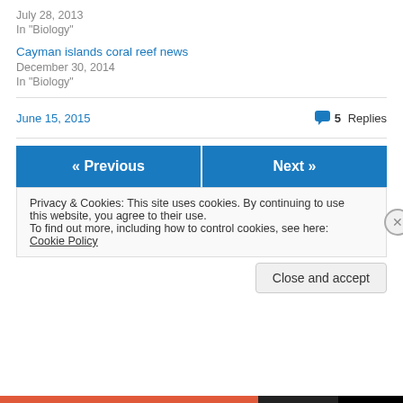July 28, 2013
In "Biology"
Cayman islands coral reef news
December 30, 2014
In "Biology"
June 15, 2015
5 Replies
« Previous
Next »
Privacy & Cookies: This site uses cookies. By continuing to use this website, you agree to their use.
To find out more, including how to control cookies, see here: Cookie Policy
Close and accept